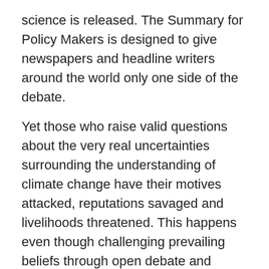science is released. The Summary for Policy Makers is designed to give newspapers and headline writers around the world only one side of the debate.
Yet those who raise valid questions about the very real uncertainties surrounding the understanding of climate change have their motives attacked, reputations savaged and livelihoods threatened. This happens even though challenging prevailing beliefs through open debate and critical thinking is fundamental to the scientific process.
The intellectual dishonesty of senior administration officials who are unwilling to admit when they are wrong is astounding. When assessing climate change, we should focus on good science, not politically correct science.
Mr. Smith, a Republican from Texas, is chairman of the